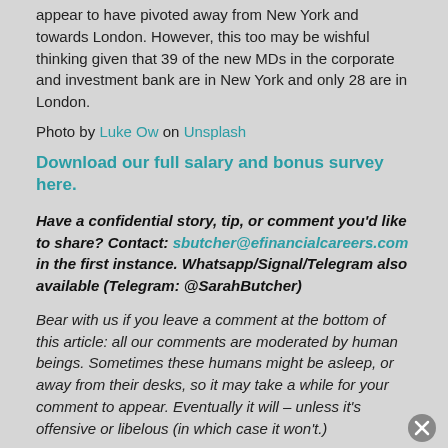appear to have pivoted away from New York and towards London. However, this too may be wishful thinking given that 39 of the new MDs in the corporate and investment bank are in New York and only 28 are in London.
Photo by Luke Ow on Unsplash
Download our full salary and bonus survey here.
Have a confidential story, tip, or comment you'd like to share? Contact: sbutcher@efinancialcareers.com in the first instance. Whatsapp/Signal/Telegram also available (Telegram: @SarahButcher)
Bear with us if you leave a comment at the bottom of this article: all our comments are moderated by human beings. Sometimes these humans might be asleep, or away from their desks, so it may take a while for your comment to appear. Eventually it will – unless it's offensive or libelous (in which case it won't.)